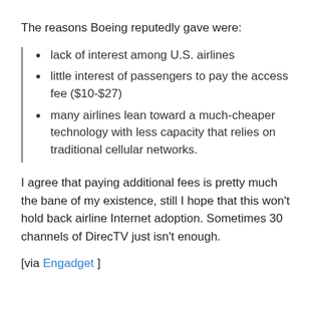The reasons Boeing reputedly gave were:
lack of interest among U.S. airlines
little interest of passengers to pay the access fee ($10-$27)
many airlines lean toward a much-cheaper technology with less capacity that relies on traditional cellular networks.
I agree that paying additional fees is pretty much the bane of my existence, still I hope that this won't hold back airline Internet adoption. Sometimes 30 channels of DirecTV just isn't enough.
[via Engadget ]